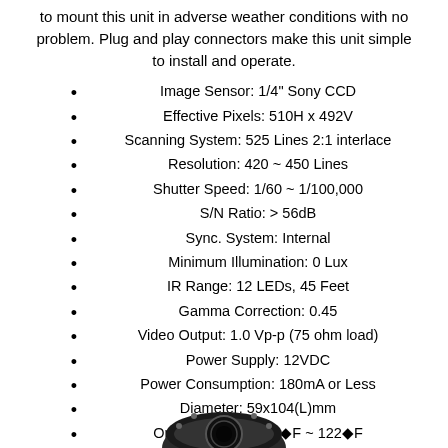to mount this unit in adverse weather conditions with no problem. Plug and play connectors make this unit simple to install and operate.
Image Sensor: 1/4" Sony CCD
Effective Pixels: 510H x 492V
Scanning System: 525 Lines 2:1 interlace
Resolution: 420 ~ 450 Lines
Shutter Speed: 1/60 ~ 1/100,000
S/N Ratio: > 56dB
Sync. System: Internal
Minimum Illumination: 0 Lux
IR Range: 12 LEDs, 45 Feet
Gamma Correction: 0.45
Video Output: 1.0 Vp-p (75 ohm load)
Power Supply: 12VDC
Power Consumption: 180mA or Less
Diameter: 59x104(L)mm
Operating Temp: 14�F ~ 122�F
Aluminum Housing
[Figure (photo): Bottom portion of a camera device, dark colored, partially visible at the bottom of the page]